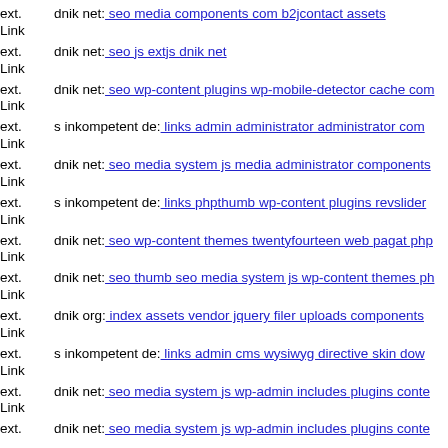ext. Link dnik net: seo media components com b2jcontact assets
ext. Link dnik net: seo js extjs dnik net
ext. Link dnik net: seo wp-content plugins wp-mobile-detector cache com
ext. Link s inkompetent de: links admin administrator administrator com
ext. Link dnik net: seo media system js media administrator components
ext. Link s inkompetent de: links phpthumb wp-content plugins revslider
ext. Link dnik net: seo wp-content themes twentyfourteen web pagat php
ext. Link dnik net: seo thumb seo media system js wp-content themes ph
ext. Link dnik org: index assets vendor jquery filer uploads components
ext. Link s inkompetent de: links admin cms wysiwyg directive skin dow
ext. Link dnik net: seo media system js wp-admin includes plugins conte
ext. Link dnik net: seo media system js wp-admin includes plugins conte